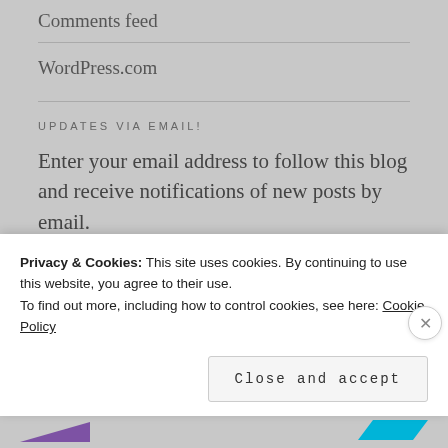Comments feed
WordPress.com
UPDATES VIA EMAIL!
Enter your email address to follow this blog and receive notifications of new posts by email.
[Figure (screenshot): Email Address input field]
Privacy & Cookies: This site uses cookies. By continuing to use this website, you agree to their use. To find out more, including how to control cookies, see here: Cookie Policy
Close and accept